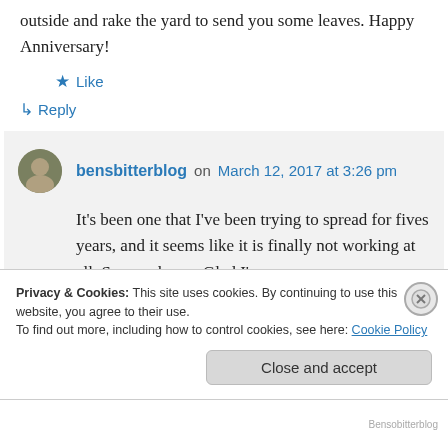outside and rake the yard to send you some leaves. Happy Anniversary!
★ Like
↵ Reply
bensbitterblog on March 12, 2017 at 3:26 pm
It's been one that I've been trying to spread for fives years, and it seems like it is finally not working at all. So, you know. Glad I've
Privacy & Cookies: This site uses cookies. By continuing to use this website, you agree to their use.
To find out more, including how to control cookies, see here: Cookie Policy
Close and accept